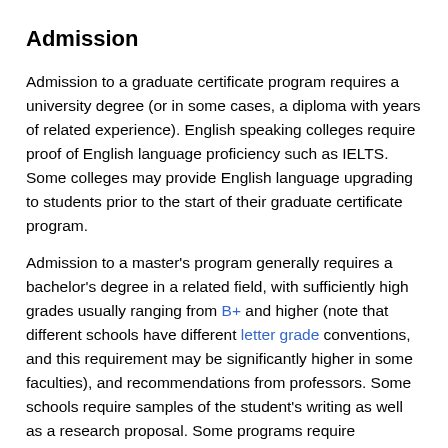Admission
Admission to a graduate certificate program requires a university degree (or in some cases, a diploma with years of related experience). English speaking colleges require proof of English language proficiency such as IELTS. Some colleges may provide English language upgrading to students prior to the start of their graduate certificate program.
Admission to a master's program generally requires a bachelor's degree in a related field, with sufficiently high grades usually ranging from B+ and higher (note that different schools have different letter grade conventions, and this requirement may be significantly higher in some faculties), and recommendations from professors. Some schools require samples of the student's writing as well as a research proposal. Some programs require Graduate Record Exams (GRE) in both the general examination and the examination for its specific discipline, with minimum scores for admittance. At English-speaking universities, applicants from countries where English is not the primary language are required to submit scores from the Test of English as a Foreign Language